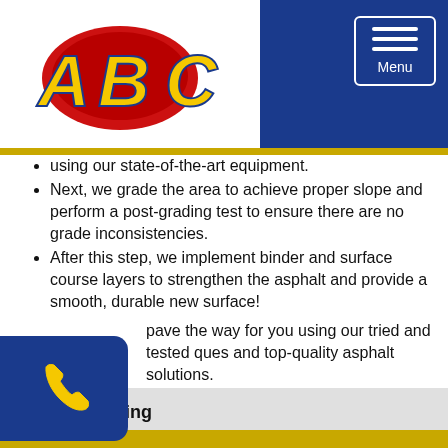[Figure (logo): ABC company logo with stylized letters in blue and yellow with red circular emblem]
using our state-of-the-art equipment.
Next, we grade the area to achieve proper slope and perform a post-grading test to ensure there are no grade inconsistencies.
After this step, we implement binder and surface course layers to strengthen the asphalt and provide a smooth, durable new surface!
pave the way for you using our tried and tested ques and top-quality asphalt solutions. Schedule an appointment today!
Asphalt Paving